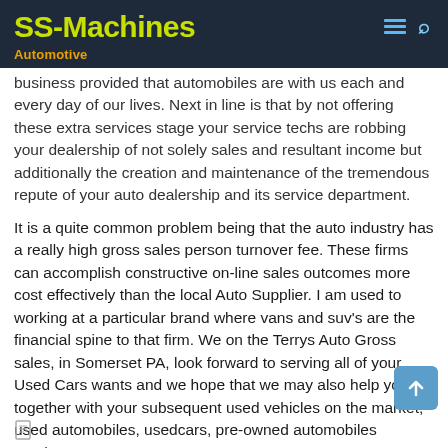SS-Machines
Automotive
business provided that automobiles are with us each and every day of our lives. Next in line is that by not offering these extra services stage your service techs are robbing your dealership of not solely sales and resultant income but additionally the creation and maintenance of the tremendous repute of your auto dealership and its service department.
It is a quite common problem being that the auto industry has a really high gross sales person turnover fee. These firms can accomplish constructive on-line sales outcomes more cost effectively than the local Auto Supplier. I am used to working at a particular brand where vans and suv's are the financial spine to that firm. We on the Terrys Auto Gross sales, in Somerset PA, look forward to serving all of your Used Cars wants and we hope that we may also help you together with your subsequent used vehicles on the market, used automobiles, usedcars, pre-owned automobiles purchase.